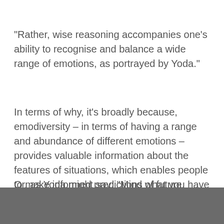"Rather, wise reasoning accompanies one's ability to recognise and balance a wide range of emotions, as portrayed by Yoda."
In terms of why, it's broadly because, emodiversity – in terms of having a range and abundance of different emotions – provides valuable information about the features of situations, which enables people to make informed predictions of future actions.
Or, as Yoda might say: "Mind what you have